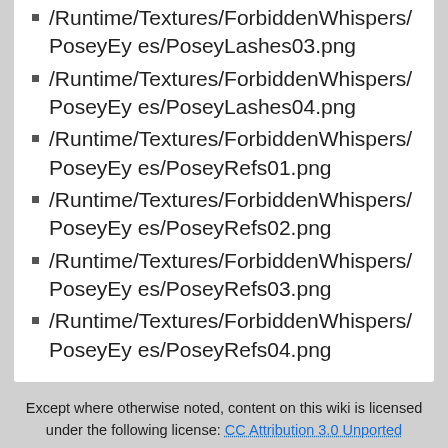/Runtime/Textures/ForbiddenWhispers/PoseyEyes/PoseyLashes03.png
/Runtime/Textures/ForbiddenWhispers/PoseyEyes/PoseyLashes04.png
/Runtime/Textures/ForbiddenWhispers/PoseyEyes/PoseyRefs01.png
/Runtime/Textures/ForbiddenWhispers/PoseyEyes/PoseyRefs02.png
/Runtime/Textures/ForbiddenWhispers/PoseyEyes/PoseyRefs03.png
/Runtime/Textures/ForbiddenWhispers/PoseyEyes/PoseyRefs04.png
Except where otherwise noted, content on this wiki is licensed under the following license: CC Attribution 3.0 Unported